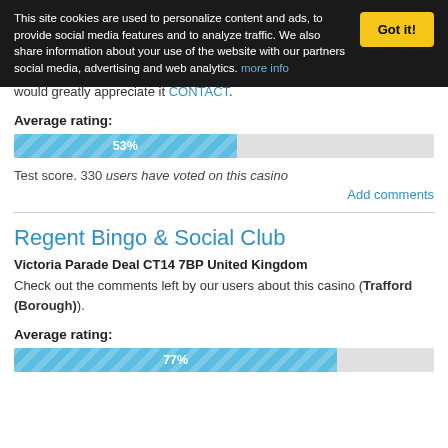This site cookies are used to personalize content and ads, to provide social media features and to analyze traffic. We also share information about your use of the website with our partners social media, advertising and web analytics. more info
would greatly appreciate it CONTACT.
Average rating:
[Figure (other): Progress bar showing 53% rating]
Test score. 330 users have voted on this casino
Add comments
Regent Bingo & Social Club
Victoria Parade Deal CT14 7BP United Kingdom
Check out the comments left by our users about this casino (Trafford (Borough)).
Average rating:
[Figure (other): Progress bar showing 77% rating]